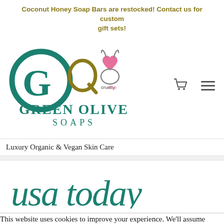Coconut Honey Soap Bars are restocked! Contact us for custom gift sets!
[Figure (logo): Green Olive Soaps logo with teal circular G letter mark, gold Q-like letter, cruelty free bunny heart badge, and text GREEN OLIVE SOAPS]
Luxury Organic & Vegan Skin Care
[Figure (logo): USA Today logo in teal cursive script handwriting style]
This website uses cookies to improve your experience. We'll assume you're ok with this, but you can opt-out if you wish.
Accept | Reject | Read More